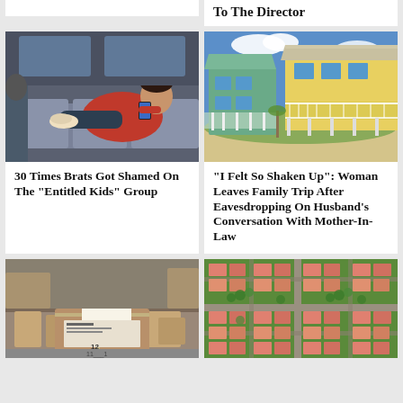To The Director
[Figure (photo): Boy in red jacket lying across subway seats, playing with phone]
[Figure (photo): Colorful beach houses on sandy beach]
30 Times Brats Got Shamed On The "Entitled Kids" Group
“I Felt So Shaken Up”: Woman Leaves Family Trip After Eavesdropping On Husband’s Conversation With Mother-In-Law
[Figure (photo): Hands opening a cardboard box at a shipping/warehouse facility]
[Figure (photo): Aerial view of suburban neighborhood with red-roofed houses and trees]